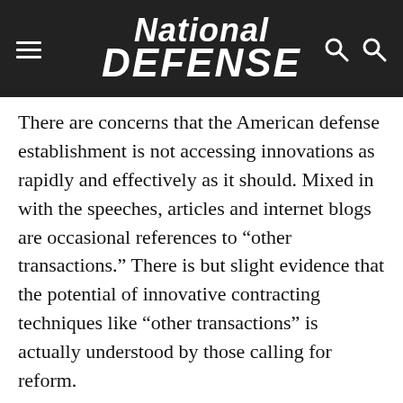National Defense
There are concerns that the American defense establishment is not accessing innovations as rapidly and effectively as it should. Mixed in with the speeches, articles and internet blogs are occasional references to “other transactions.” There is but slight evidence that the potential of innovative contracting techniques like “other transactions” is actually understood by those calling for reform.
All the elements needed to create a responsive alternative to the traditional system exist. They were described in “Other Transaction Contracts: